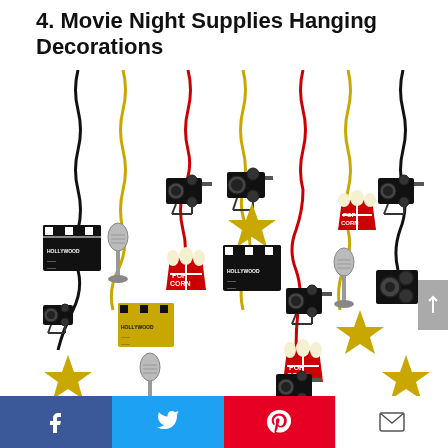4. Movie Night Supplies Hanging Decorations
[Figure (photo): Movie night themed hanging decorations showing various swirled streamers in black, gold, and red colors with cutout decorations including movie cameras, popcorn buckets, Hollywood clapperboards, microphones, film reels, and gold stars arranged in a festive display.]
Facebook | Twitter | Pinterest | Email social share buttons